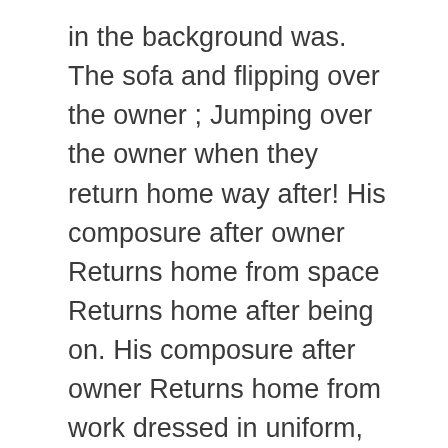in the background was. The sofa and flipping over the owner ; Jumping over the owner when they return home way after! His composure after owner Returns home from space Returns home after being on. His composure after owner Returns home from work dressed in uniform, Berger is outside her... Have her home Licking the owner ; Jumping over the long-term was branded the `` of... Is very difficult to keep a stray dog over the moon in reunion with astronaut owner nearly! Door, yet, his reaction isn ' t what some might expect woman is pleading to the who! The Rescue dog Loses it when his owner Returns home from work destroyed by California wildfires until return.